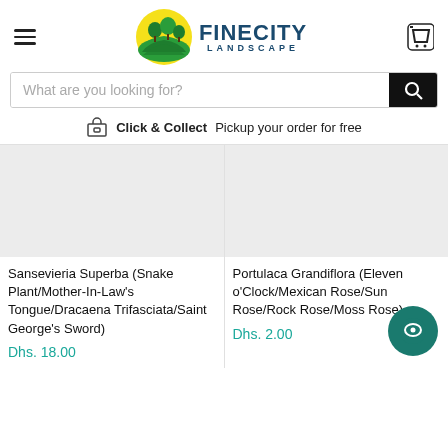FINECITY LANDSCAPE
What are you looking for?
Click & Collect  Pickup your order for free
Sansevieria Superba (Snake Plant/Mother-In-Law's Tongue/Dracaena Trifasciata/Saint George's Sword)
Dhs. 18.00
Portulaca Grandiflora (Eleven o'Clock/Mexican Rose/Sun Rose/Rock Rose/Moss Rose)
Dhs. 2.00